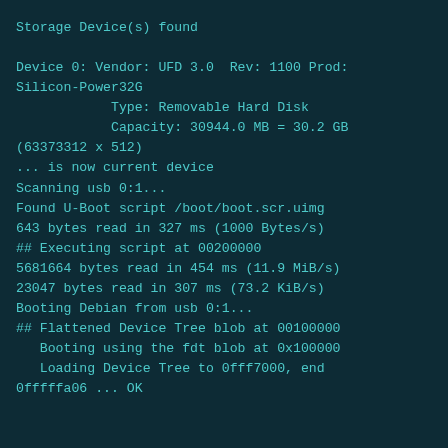Storage Device(s) found

Device 0: Vendor: UFD 3.0  Rev: 1100 Prod: Silicon-Power32G
            Type: Removable Hard Disk
            Capacity: 30944.0 MB = 30.2 GB (63373312 x 512)
... is now current device
Scanning usb 0:1...
Found U-Boot script /boot/boot.scr.uimg
643 bytes read in 327 ms (1000 Bytes/s)
## Executing script at 00200000
5681664 bytes read in 454 ms (11.9 MiB/s)
23047 bytes read in 307 ms (73.2 KiB/s)
Booting Debian from usb 0:1...
## Flattened Device Tree blob at 00100000
   Booting using the fdt blob at 0x100000
   Loading Device Tree to 0fff7000, end 0fffffa06 ... OK